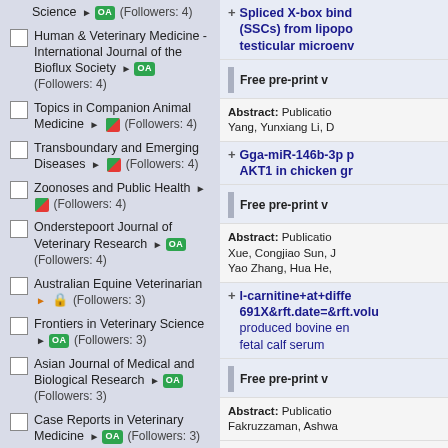Science ► OA (Followers: 4)
Human & Veterinary Medicine - International Journal of the Bioflux Society ► OA (Followers: 4)
Topics in Companion Animal Medicine ► [partial OA] (Followers: 4)
Transboundary and Emerging Diseases ► [partial OA] (Followers: 4)
Zoonoses and Public Health ► [partial OA] (Followers: 4)
Onderstepoort Journal of Veterinary Research ► OA (Followers: 4)
Australian Equine Veterinarian ► [lock] (Followers: 3)
Frontiers in Veterinary Science ► OA (Followers: 3)
Asian Journal of Medical and Biological Research ► OA (Followers: 3)
Case Reports in Veterinary Medicine ► OA (Followers: 3)
ILAR Journal ► [partial OA] (Followers:
Spliced X-box binding protein 1 (XBP1s) protects spermatogonial stem cells (SSCs) from lipopolysaccharide-induced apoptosis and maintains the testicular microenvironment
Free pre-print version
Abstract: Publication ... Yang, Yunxiang Li, D
Gga-miR-146b-3p promotes the differentiation of chicken granulosa cells by targeting AKT1 in chicken granulosa
Free pre-print version
Abstract: Publication ... Xue, Congjiao Sun, J Yao Zhang, Hua He,
l-carnitine+at+diffe... 691X&rft.date=&rft.volu... produced bovine embryos produced in vitro with or without fetal calf serum
Free pre-print version
Abstract: Publication ... Fakruzzaman, Ashwa